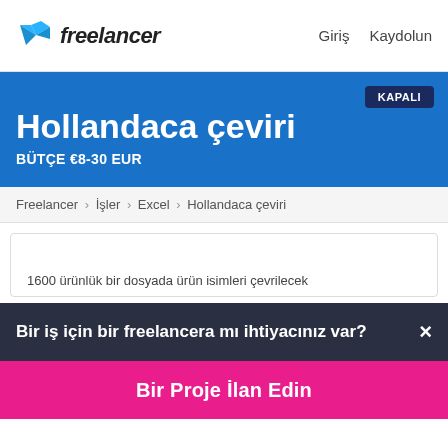Freelancer | Giriş  Kaydolun
Hollandaca çeviri
BÜTÇE €8-30 EUR
KAPALI
Freelancer › İşler › Excel › Hollandaca çeviri
1600 ürünlük bir dosyada ürün isimleri çevrilecek
Bir iş için bir freelancera mı ihtiyacınız var?  ×
Bir Proje İlan Edin